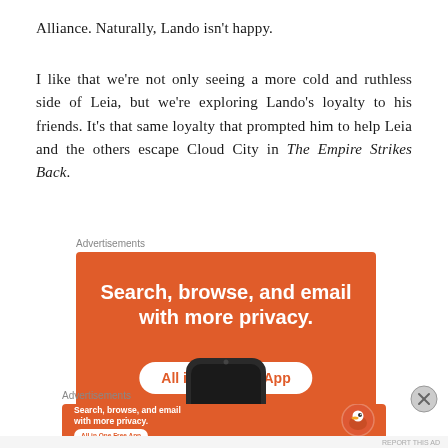Alliance. Naturally, Lando isn’t happy.
I like that we’re not only seeing a more cold and ruthless side of Leia, but we’re exploring Lando’s loyalty to his friends. It’s that same loyalty that prompted him to help Leia and the others escape Cloud City in The Empire Strikes Back.
Advertisements
[Figure (other): DuckDuckGo advertisement banner: orange background with white bold text 'Search, browse, and email with more privacy.' and a white pill button 'All in One Free App', with a smartphone image at the bottom.]
Advertisements
[Figure (other): DuckDuckGo smaller advertisement banner: orange background with white bold text 'Search, browse, and email with more privacy.' and 'All in One Free App' button, with DuckDuckGo logo on the right.]